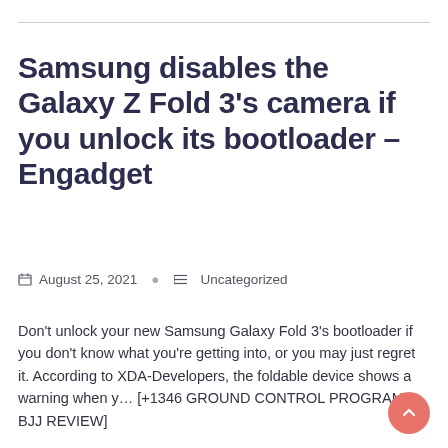Samsung disables the Galaxy Z Fold 3's camera if you unlock its bootloader – Engadget
August 25, 2021   Uncategorized
Don't unlock your new Samsung Galaxy Fold 3's bootloader if you don't know what you're getting into, or you may just regret it. According to XDA-Developers, the foldable device shows a warning when y… [+1346 GROUND CONTROL PROGRAM BJJ REVIEW]